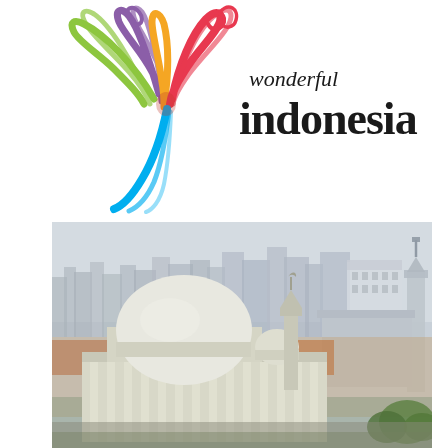[Figure (logo): Wonderful Indonesia tourism logo featuring a colorful abstract bird shape made of swirling feathers in green, purple, yellow, red/pink, and blue, with the text 'wonderful Indonesia' in black serif font to the right]
[Figure (photo): Aerial photograph of Jakarta, Indonesia, showing the Istiqlal Mosque with its large white dome and minarets in the foreground, surrounded by urban buildings and a hazy city skyline in the background]